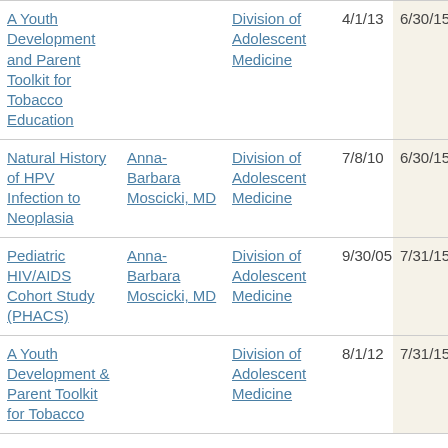| A Youth Development and Parent Toolkit for Tobacco Education |  | Division of Adolescent Medicine | 4/1/13 | 6/30/15 |
| Natural History of HPV Infection to Neoplasia | Anna-Barbara Moscicki, MD | Division of Adolescent Medicine | 7/8/10 | 6/30/15 |
| Pediatric HIV/AIDS Cohort Study (PHACS) | Anna-Barbara Moscicki, MD | Division of Adolescent Medicine | 9/30/05 | 7/31/15 |
| A Youth Development & Parent Toolkit for Tobacco |  | Division of Adolescent Medicine | 8/1/12 | 7/31/15 |